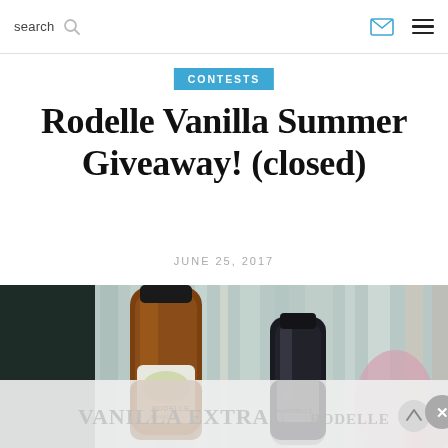search  [search icon]  [mail icon]  [menu icon]
CONTESTS
Rodelle Vanilla Summer Giveaway! (closed)
JUNE 25, 2017
[Figure (photo): Two Rodelle vanilla extract bottles (one large amber bottle, one smaller bottle) on a striped surface with other items in the background.]
[Figure (photo): Partially visible ad overlay at the bottom showing Rodelle products with close and scroll-up buttons.]